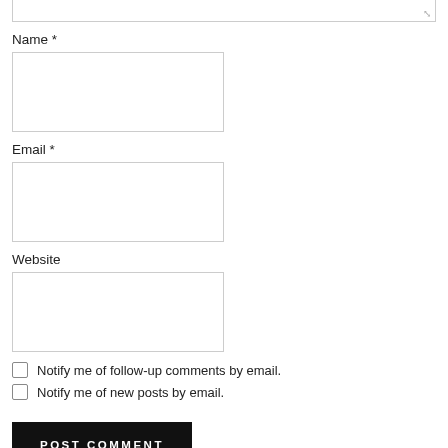Name *
[Figure (other): Name text input field (empty)]
Email *
[Figure (other): Email text input field (empty)]
Website
[Figure (other): Website text input field (empty)]
Notify me of follow-up comments by email.
Notify me of new posts by email.
POST COMMENT